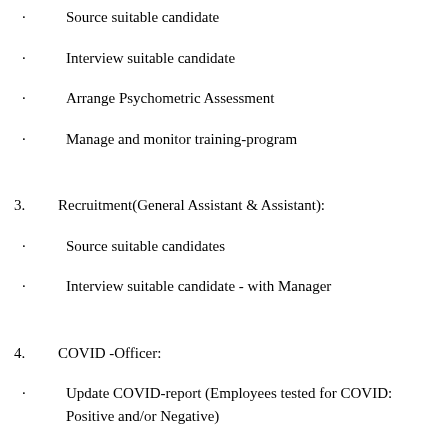Source suitable candidate
Interview suitable candidate
Arrange Psychometric Assessment
Manage and monitor training-program
3.  Recruitment(General Assistant & Assistant):
Source suitable candidates
Interview suitable candidate - with Manager
4.  COVID -Officer:
Update COVID-report (Employees tested for COVID: Positive and/or Negative)